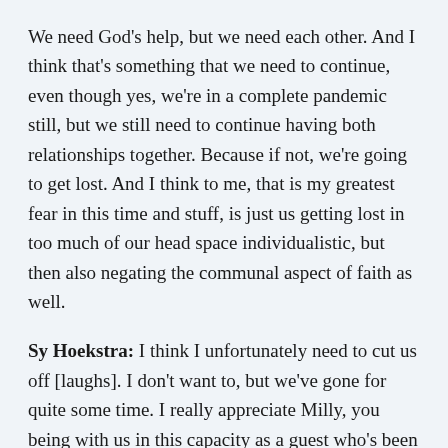We need God's help, but we need each other. And I think that's something that we need to continue, even though yes, we're in a complete pandemic still, but we still need to continue having both relationships together. Because if not, we're going to get lost. And I think to me, that is my greatest fear in this time and stuff, is just us getting lost in too much of our head space individualistic, but then also negating the communal aspect of faith as well.
Sy Hoekstra: I think I unfortunately need to cut us off [laughs]. I don't want to, but we've gone for quite some time. I really appreciate Milly, you being with us in this capacity as a guest who's been here before. And we just know you too well at this point, so we are not as nervous about talking and then you don't talk as much. Anyways, what I'm trying to say is you're a part of our